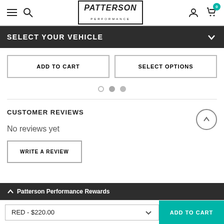Patterson Performance - Header with hamburger menu, search, logo, user icon, cart
SELECT YOUR VEHICLE
ADD TO CART | SELECT OPTIONS
No reviews yet
CUSTOMER REVIEWS
WRITE A REVIEW
RED - $220.00  ADD TO CART  Patterson Performance Rewards